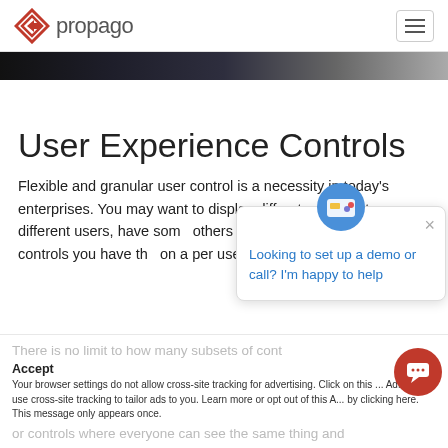[Figure (logo): Propago logo with red diamond arrow icon and grey 'propago' wordmark]
[Figure (screenshot): Dark hero banner image strip]
User Experience Controls
Flexible and granular user control is a necessity in today's enterprises. You may want to display different products to different users, have some receive for free and user controls you have the on a per user basis or ac...
[Figure (screenshot): Chat popup widget saying 'Looking to set up a demo or call? I'm happy to help']
There is no limit to how many subsets of cont...
Your browser settings do not allow cross-site tracking for advertising. Click on this ... AdRoll to use cross-site tracking to tailor ads to you. Learn more or opt out of this A... by clicking here. This message only appears once.
or controls where everyone can see the same thing and...